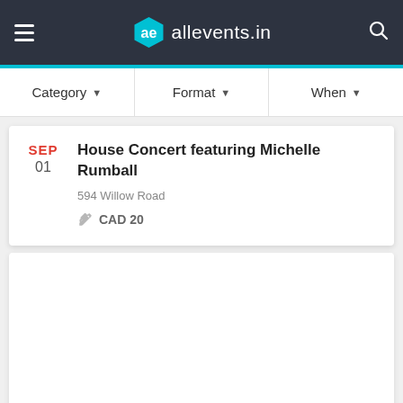allevents.in
Category  Format  When
House Concert featuring Michelle Rumball
594 Willow Road
CAD 20
SEP 01